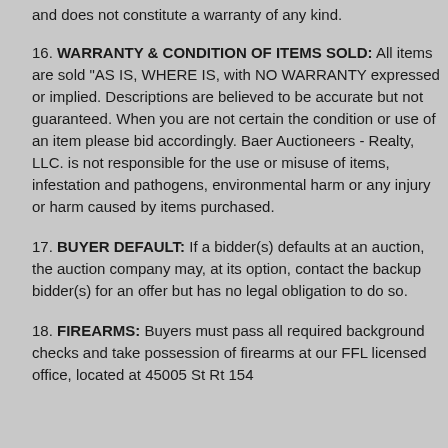and does not constitute a warranty of any kind.
16. WARRANTY & CONDITION OF ITEMS SOLD: All items are sold "AS IS, WHERE IS, with NO WARRANTY expressed or implied. Descriptions are believed to be accurate but not guaranteed. When you are not certain the condition or use of an item please bid accordingly. Baer Auctioneers - Realty, LLC. is not responsible for the use or misuse of items, infestation and pathogens, environmental harm or any injury or harm caused by items purchased.
17. BUYER DEFAULT: If a bidder(s) defaults at an auction, the auction company may, at its option, contact the backup bidder(s) for an offer but has no legal obligation to do so.
18. FIREARMS: Buyers must pass all required background checks and take possession of firearms at our FFL licensed office, located at 45005 St Rt 154...